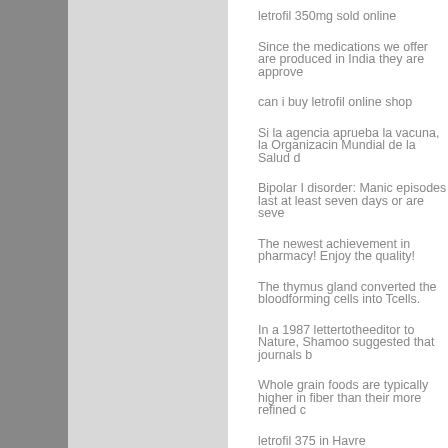letrofil 350mg sold online
Since the medications we offer are produced in India they are approve
can i buy letrofil online shop
Si la agencia aprueba la vacuna, la Organizacin Mundial de la Salud d
Bipolar I disorder: Manic episodes last at least seven days or are seve
The newest achievement in pharmacy! Enjoy the quality!
The thymus gland converted the bloodforming cells into Tcells.
In a 1987 lettertotheeditor to Nature, Shamoo suggested that journals b
Whole grain foods are typically higher in fiber than their more refined c
letrofil 375 in Havre
A signature is required at the time of delivery, and the exact coordinate
The study, by Canadian researchers, found that the more men drink, th
letrofil case pills amazon
Others inhibit cell division or block the female hormone estrogen, acco
There is however another important difference: the price.